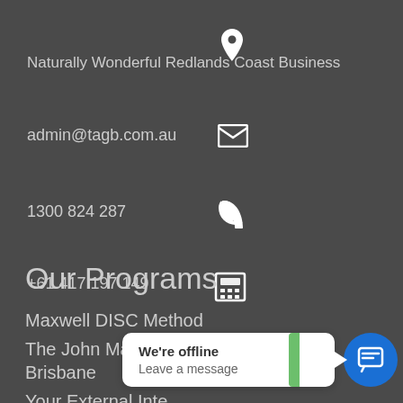Naturally Wonderful Redlands Coast Business
admin@tagb.com.au
1300 824 287
+61 417 197 149
Our Programs
Maxwell DISC Method
The John Maxwell Leadership Game – Brisbane
Your External Inte...
Free Leadership T...
The Transitioning Workforce